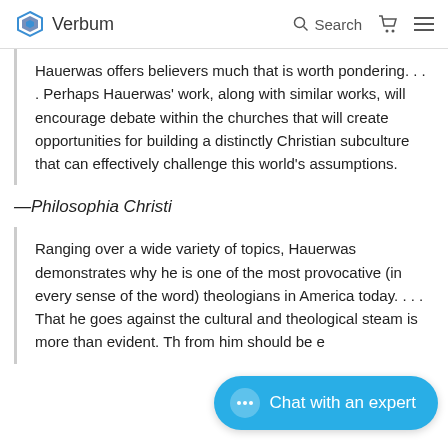Verbum  Search
Hauerwas offers believers much that is worth pondering. . . . Perhaps Hauerwas’ work, along with similar works, will encourage debate within the churches that will create opportunities for building a distinctly Christian subculture that can effectively challenge this world’s assumptions.
—Philosophia Christi
Ranging over a wide variety of topics, Hauerwas demonstrates why he is one of the most provocative (in every sense of the word) theologians in America today. . . . That he goes against the cultural and theological steam is more than evident. Th… from him should be e…